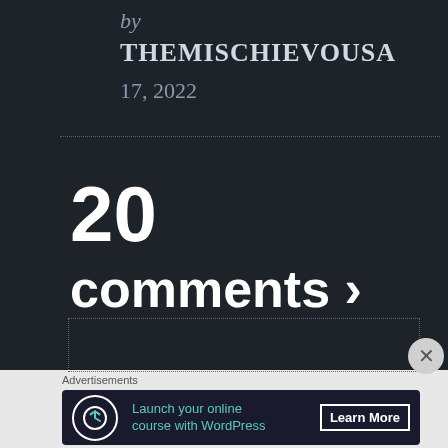by
THEMISCHIEVOUSA
17, 2022
20
comments ›
Advertisements
Launch your online course with WordPress
Learn More